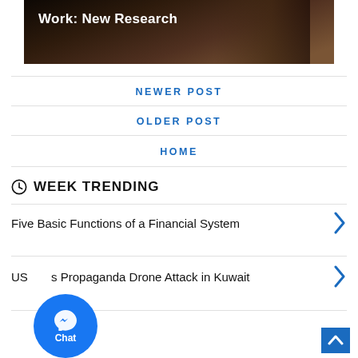[Figure (photo): Dark photo of a person with overlay text 'Work: New Research']
NEWER POST
OLDER POST
HOME
WEEK TRENDING
Five Basic Functions of a Financial System
US ... s Propaganda Drone Attack in Kuwait
[Figure (other): Facebook Messenger Chat bubble button]
[Figure (other): Scroll to top arrow button]